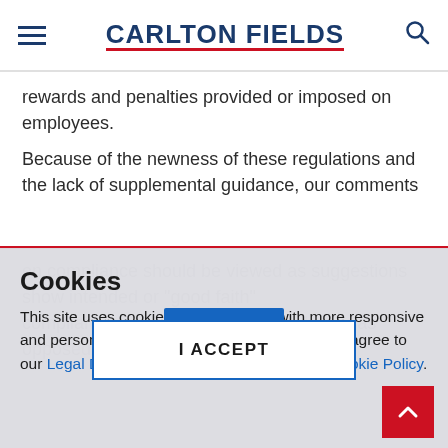CARLTON FIELDS
rewards and penalties provided or imposed on employees.
Because of the newness of these regulations and the lack of supplemental guidance, our comments on compliance should be viewed as suggestions...
Cookies
This site uses cookies to provide you with more responsive and personalized service. By using this site you agree to our Legal Disclaimer and Online Privacy and Cookie Policy.
I ACCEPT